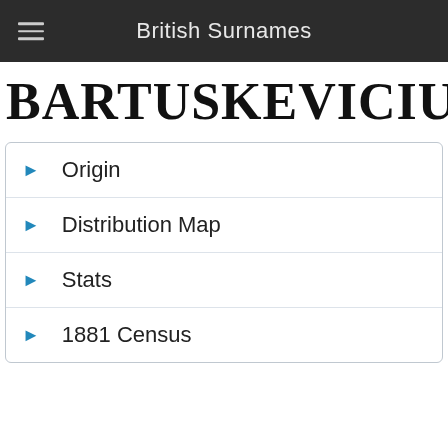British Surnames
BARTUSKEVICIUS
Origin
Distribution Map
Stats
1881 Census